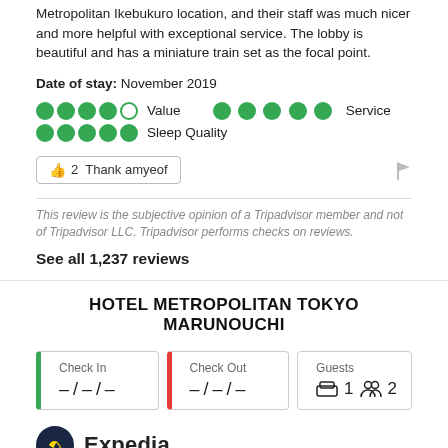Metropolitan Ikebukuro location, and their staff was much nicer and more helpful with exceptional service. The lobby is beautiful and has a miniature train set as the focal point.
Date of stay: November 2019
Value (4.5/5), Service (5/5), Sleep Quality (5/5)
👍 2  Thank amyeof
This review is the subjective opinion of a Tripadvisor member and not of Tripadvisor LLC. Tripadvisor performs checks on reviews.
See all 1,237 reviews
HOTEL METROPOLITAN TOKYO MARUNOUCHI
Check In – / – / –
Check Out – / – / –
Guests 🛏 1 👥 2
Expedia